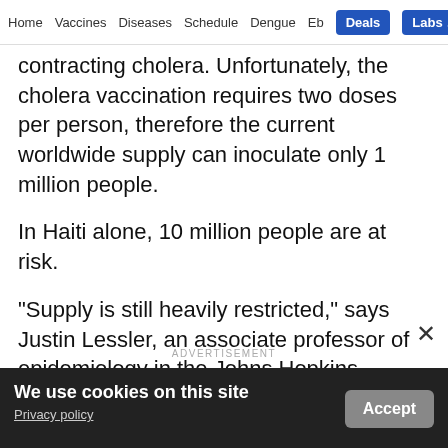Home  Vaccines  Diseases  Schedule  Dengue  Eb  Deals  Labs
contracting cholera. Unfortunately, the cholera vaccination requires two doses per person, therefore the current worldwide supply can inoculate only 1 million people.
In Haiti alone, 10 million people are at risk.
"Supply is still heavily restricted," says Justin Lessler, an associate professor of epidemiology in the Johns Hopkins Bloomberg School of Public
ADVERTISEMENT
We use cookies on this site
Privacy policy